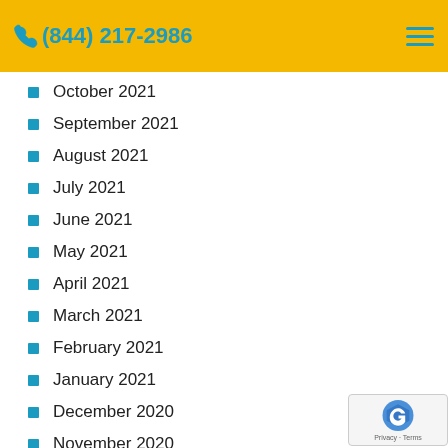(844) 217-2986
October 2021
September 2021
August 2021
July 2021
June 2021
May 2021
April 2021
March 2021
February 2021
January 2021
December 2020
November 2020